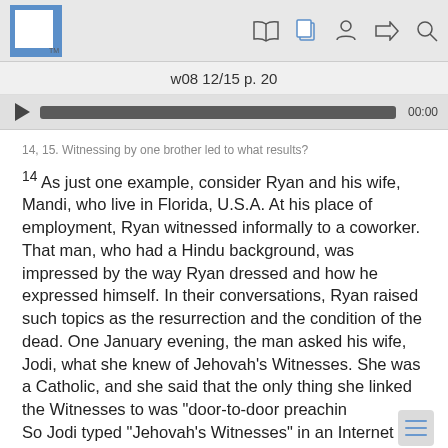w08 12/15 p. 20
14, 15. Witnessing by one brother led to what results?
14 As just one example, consider Ryan and his wife, Mandi, who live in Florida, U.S.A. At his place of employment, Ryan witnessed informally to a coworker. That man, who had a Hindu background, was impressed by the way Ryan dressed and how he expressed himself. In their conversations, Ryan raised such topics as the resurrection and the condition of the dead. One January evening, the man asked his wife, Jodi, what she knew of Jehovah's Witnesses. She was a Catholic, and she said that the only thing she linked the Witnesses to was “door-to-door preaching” So Jodi typed “Jehovah's Witnesses” in an Internet